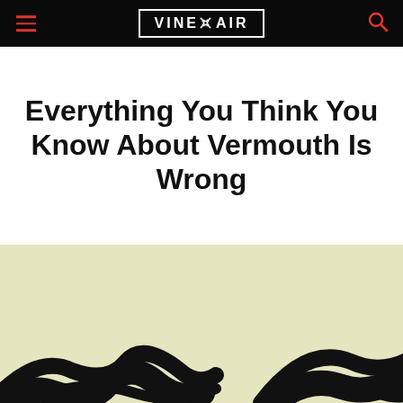VINEPAIR
Everything You Think You Know About Vermouth Is Wrong
[Figure (illustration): Cream/tan background illustration showing black curved shapes resembling eyeglasses or abstract forms at the bottom of the page]